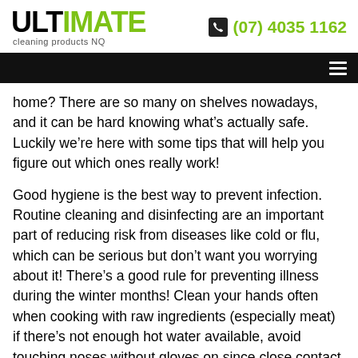ULTIMATE cleaning products NQ — (07) 4035 1162
home? There are so many on shelves nowadays, and it can be hard knowing what’s actually safe. Luckily we’re here with some tips that will help you figure out which ones really work!
Good hygiene is the best way to prevent infection. Routine cleaning and disinfecting are an important part of reducing risk from diseases like cold or flu, which can be serious but don’t want you worrying about it! There’s a good rule for preventing illness during the winter months! Clean your hands often when cooking with raw ingredients (especially meat) if there’s not enough hot water available, avoid touching noses without gloves on since close contact increases chances for spreading germs through sneezes and coughs instead use a